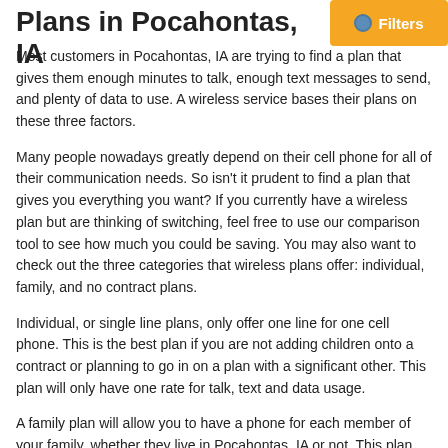Plans in Pocahontas, IA
Most customers in Pocahontas, IA are trying to find a plan that gives them enough minutes to talk, enough text messages to send, and plenty of data to use. A wireless service bases their plans on these three factors.
Many people nowadays greatly depend on their cell phone for all of their communication needs. So isn't it prudent to find a plan that gives you everything you want? If you currently have a wireless plan but are thinking of switching, feel free to use our comparison tool to see how much you could be saving. You may also want to check out the three categories that wireless plans offer: individual, family, and no contract plans.
Individual, or single line plans, only offer one line for one cell phone. This is the best plan if you are not adding children onto a contract or planning to go in on a plan with a significant other. This plan will only have one rate for talk, text and data usage.
A family plan will allow you to have a phone for each member of your family, whether they live in Pocahontas, IA or not. This plan